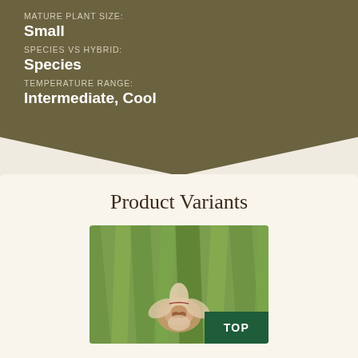MATURE PLANT SIZE:
Small
SPECIES VS HYBRID:
Species
TEMPERATURE RANGE:
Intermediate, Cool
Product Variants
[Figure (photo): Close-up photo of an orchid flower with green blurred background and a small brown/white flower in center]